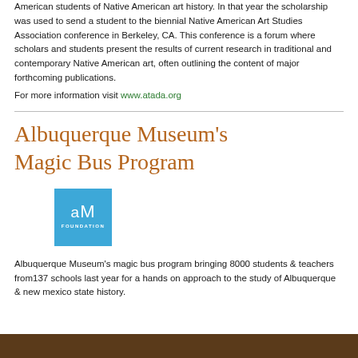American students of Native American art history. In that year the scholarship was used to send a student to the biennial Native American Art Studies Association conference in Berkeley, CA. This conference is a forum where scholars and students present the results of current research in traditional and contemporary Native American art, often outlining the content of major forthcoming publications.
For more information visit www.atada.org
Albuquerque Museum's Magic Bus Program
[Figure (logo): Albuquerque Museum Foundation logo — blue square with 'aM' in white letters and 'FOUNDATION' text below]
Albuquerque Museum's magic bus program bringing 8000 students & teachers from137 schools last year for a hands on approach to the study of Albuquerque & new mexico state history.